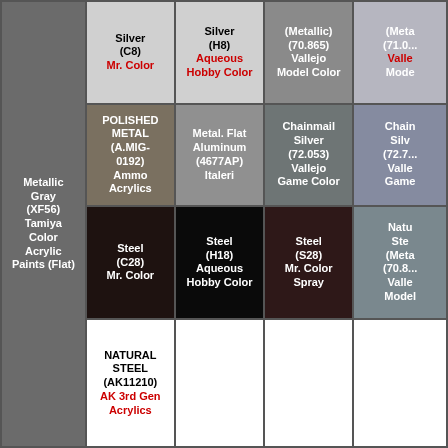| Paint Color | Mr. Color / Ammo | Aqueous / Italeri | Vallejo Model Color | Vallejo (partial) |
| --- | --- | --- | --- | --- |
| Metallic Gray (XF56) Tamiya Color Acrylic Paints (Flat) | Silver (C8) Mr. Color | Silver (H8) Aqueous Hobby Color | (Metallic) (70.865) Vallejo Model Color | (Meta (71.0... Valle Mode |
|  | POLISHED METAL (A.MIG-0192) Ammo Acrylics | Metal. Flat Aluminum (4677AP) Italeri | Chainmail Silver (72.053) Vallejo Game Color | Chain Silv (72.7... Valle Game |
|  | Steel (C28) Mr. Color | Steel (H18) Aqueous Hobby Color | Steel (S28) Mr. Color Spray | Natu Ste (Meta (70.8... Valle Model |
|  | NATURAL STEEL (AK11210) AK 3rd Gen Acrylics |  |  |  |